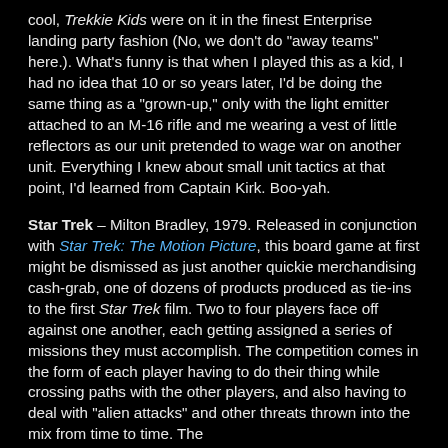cool, Trekkie Kids were on it in the finest Enterprise landing party fashion (No, we don't do "away teams" here.). What's funny is that when I played this as a kid, I had no idea that 10 or so years later, I'd be doing the same thing as a "grown-up," only with the light emitter attached to an M-16 rifle and me wearing a vest of little reflectors as our unit pretended to wage war on another unit. Everything I knew about small unit tactics at that point, I'd learned from Captain Kirk. Boo-yah.
Star Trek – Milton Bradley, 1979. Released in conjunction with Star Trek: The Motion Picture, this board game at first might be dismissed as just another quickie merchandising cash-grab, one of dozens of products produced as tie-ins to the first Star Trek film. Two to four players face off against one another, each getting assigned a series of missions they must accomplish. The competition comes in the form of each player having to do their thing while crossing paths with the other players, and also having to deal with "alien attacks" and other threats thrown into the mix from time to time. The